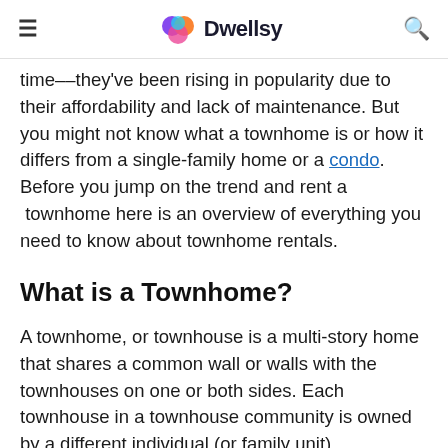≡  Dwellsy  🔍
time––they've been rising in popularity due to their affordability and lack of maintenance. But you might not know what a townhome is or how it differs from a single-family home or a condo. Before you jump on the trend and rent a  townhome here is an overview of everything you need to know about townhome rentals.
What is a Townhome?
A townhome, or townhouse is a multi-story home that shares a common wall or walls with the townhouses on one or both sides. Each townhouse in a townhouse community is owned by a different individual (or family unit). Oftentimes, all of the townhomes in a